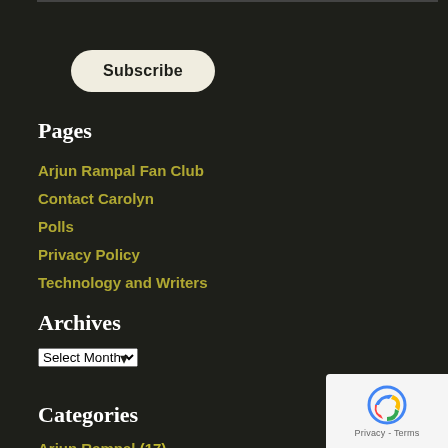[Figure (screenshot): Subscribe button with rounded pill shape on dark background]
Pages
Arjun Rampal Fan Club
Contact Carolyn
Polls
Privacy Policy
Technology and Writers
Archives
Select Month (dropdown)
Categories
Arjun Rampal (17)
Authors (109)
Baking (17)
Blogging (28)
Book Reviews (50)
Books (437)
Boucheron (3)